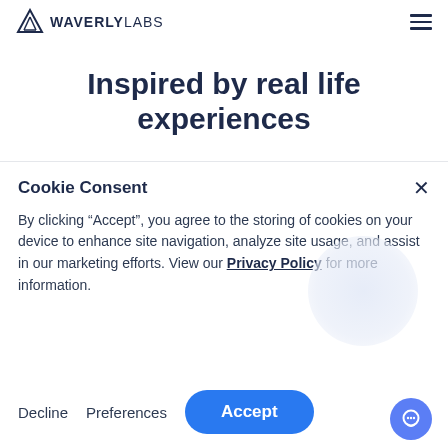[Figure (logo): Waverly Labs logo with triangle icon and wordmark WAVERLYLABS]
Inspired by real life experiences
Cookie Consent
By clicking “Accept”, you agree to the storing of cookies on your device to enhance site navigation, analyze site usage, and assist in our marketing efforts. View our Privacy Policy for more information.
Decline   Preferences   Accept